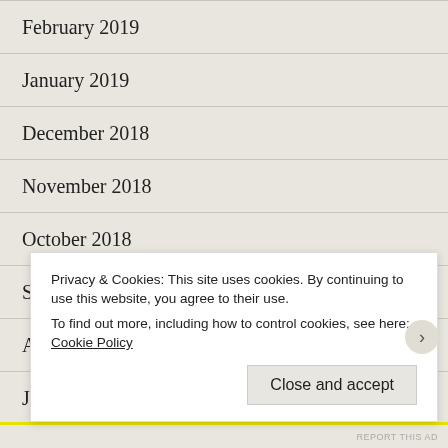February 2019
January 2019
December 2018
November 2018
October 2018
September 2018
August 2018
July 2018
June 2018
Privacy & Cookies: This site uses cookies. By continuing to use this website, you agree to their use.
To find out more, including how to control cookies, see here: Cookie Policy
REPORT THIS AD